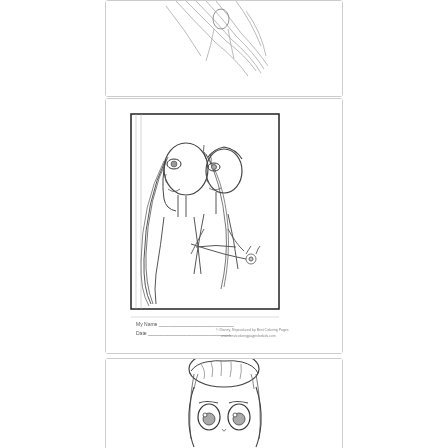[Figure (illustration): Partial view of an anime-style pencil sketch showing flowing hair and a figure, cropped at top, in a rectangular bordered panel]
[Figure (illustration): Anime-style pencil sketch coloring page showing two characters (Rapunzel and Flynn Rider style) embracing, with long flowing hair; a small text area with 'My Name' and 'Date' lines and copyright notice at the bottom of the page within a rectangular panel]
[Figure (illustration): Anime/Disney-style pencil sketch showing a close-up of a female character's face with large eyes and hair pulled up, cropped at bottom, in a rectangular bordered panel]